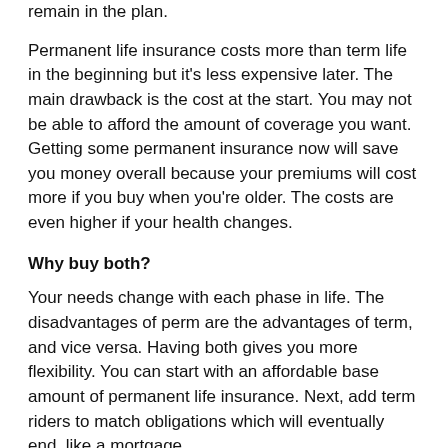remain in the plan.
Permanent life insurance costs more than term life in the beginning but it's less expensive later. The main drawback is the cost at the start. You may not be able to afford the amount of coverage you want. Getting some permanent insurance now will save you money overall because your premiums will cost more if you buy when you're older. The costs are even higher if your health changes.
Why buy both?
Your needs change with each phase in life. The disadvantages of perm are the advantages of term, and vice versa. Having both gives you more flexibility. You can start with an affordable base amount of permanent life insurance. Next, add term riders to match obligations which will eventually end, like a mortgage.
Each separate policy has administration charges.